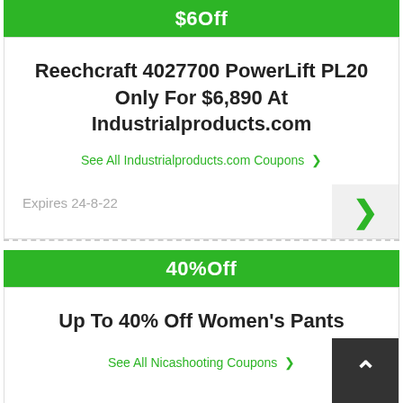$6Off
Reechcraft 4027700 PowerLift PL20 Only For $6,890 At Industrialproducts.com
See All Industrialproducts.com Coupons >
Expires 24-8-22
40%Off
Up To 40% Off Women's Pants
See All Nicashooting Coupons >